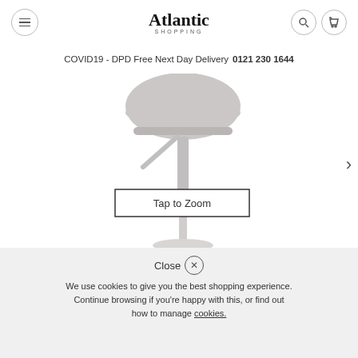Atlantic SHOPPING
COVID19 - DPD Free Next Day Delivery 0121 230 1644
[Figure (photo): Bar stool with grey round padded seat, adjustable chrome/silver post, and curved footrest base]
Tap to Zoom
Close
We use cookies to give you the best shopping experience. Continue browsing if you're happy with this, or find out how to manage cookies.